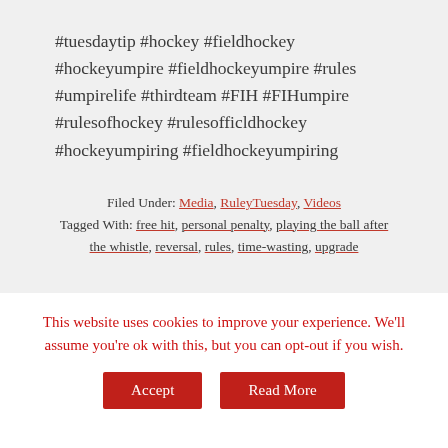#tuesdaytip #hockey #fieldhockey #hockeyumpire #fieldhockeyumpire #rules #umpirelife #thirdteam #FIH #FIHumpire #rulesofhockey #rulesofficldhockey #hockeyumpiring #fieldhockeyumpiring
Filed Under: Media, RuleyTuesday, Videos
Tagged With: free hit, personal penalty, playing the ball after the whistle, reversal, rules, time-wasting, upgrade
This website uses cookies to improve your experience. We'll assume you're ok with this, but you can opt-out if you wish.